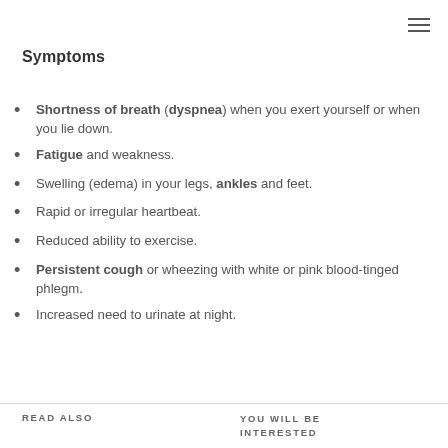Symptoms
Shortness of breath (dyspnea) when you exert yourself or when you lie down.
Fatigue and weakness.
Swelling (edema) in your legs, ankles and feet.
Rapid or irregular heartbeat.
Reduced ability to exercise.
Persistent cough or wheezing with white or pink blood-tinged phlegm.
Increased need to urinate at night.
READ ALSO    YOU WILL BE INTERESTED